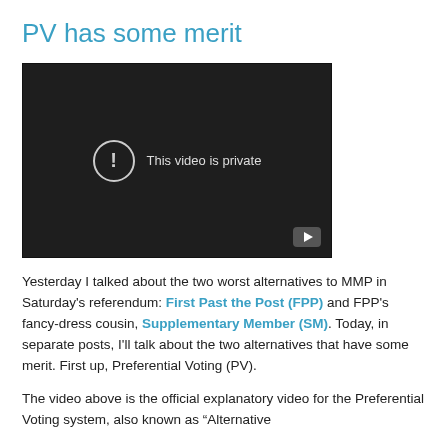PV has some merit
[Figure (screenshot): Embedded video player showing 'This video is private' message with a circular exclamation icon and a play button in the lower right corner. The background is dark/black.]
Yesterday I talked about the two worst alternatives to MMP in Saturday's referendum: First Past the Post (FPP) and FPP's fancy-dress cousin, Supplementary Member (SM). Today, in separate posts, I'll talk about the two alternatives that have some merit. First up, Preferential Voting (PV).
The video above is the official explanatory video for the Preferential Voting system, also known as "Alternative